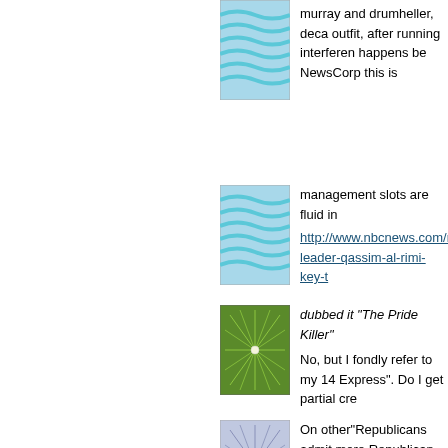[Figure (illustration): Teal wavy water pattern avatar image]
murray and drumheller, deca outfit, after running interferen happens be NewsCorp this is
[Figure (illustration): Teal wavy water pattern avatar image]
management slots are fluid in
http://www.nbcnews.com/n leader-qassim-al-rimi-key-t
[Figure (illustration): Green geometric star/snowflake pattern avatar image]
dubbed it "The Pride Killer"
No, but I fondly refer to my 14 Express". Do I get partial cre
[Figure (illustration): Blue/purple geometric star/snowflake pattern avatar image]
On other"Republicans admit more Republican Governors recent report stated that redn